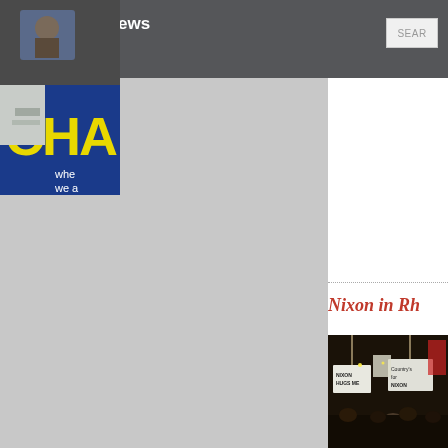Boston TV News Digital Library
[Figure (photo): Photo of a van with 'CHA' text on blue background, partially cropped on right side]
Nixon in Rh
[Figure (photo): Crowd scene with people holding Nixon campaign signs including 'NIXON HUGS ME' and 'Country's for NIXON']